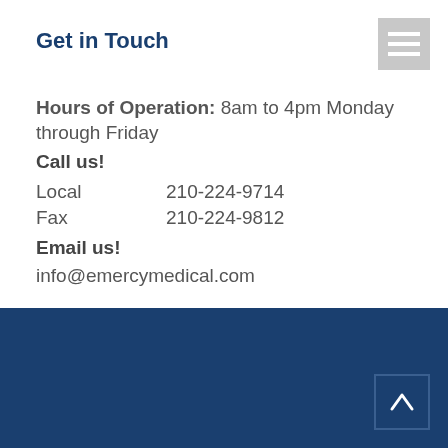Get in Touch
Hours of Operation: 8am to 4pm Monday through Friday
Call us!
Local    210-224-9714
Fax      210-224-9812
Email us!
info@emercymedical.com
Get in Touch
Hours of Operation: 8am to 4pm Monday through Friday